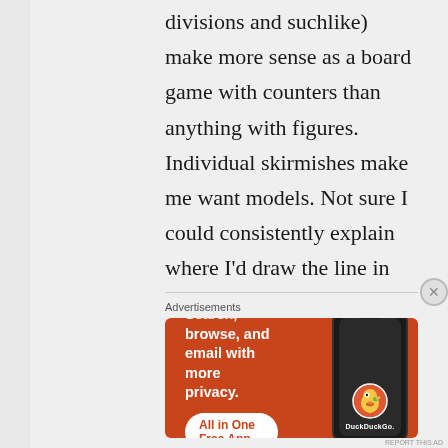divisions and suchlike) make more sense as a board game with counters than anything with figures. Individual skirmishes make me want models. Not sure I could consistently explain where I'd draw the line in between.
Advertisements
[Figure (illustration): DuckDuckGo advertisement banner with orange background. Left side shows bold white text: 'Search, browse, and email with more privacy.' with a white pill-shaped button reading 'All in One Free App' in orange text. Right side shows a dark smartphone with the DuckDuckGo duck logo and 'DuckDuckGo.' text on screen.]